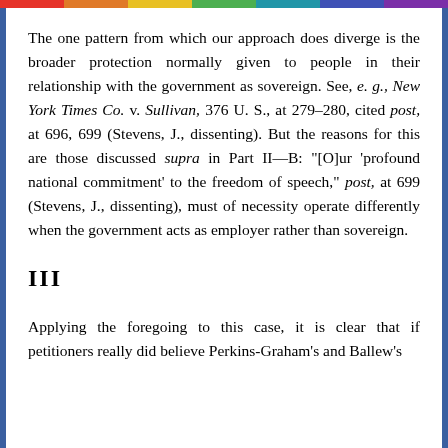The one pattern from which our approach does diverge is the broader protection normally given to people in their relationship with the government as sovereign. See, e. g., New York Times Co. v. Sullivan, 376 U. S., at 279–280, cited post, at 696, 699 (Stevens, J., dissenting). But the reasons for this are those discussed supra in Part II—B: "[O]ur 'profound national commitment' to the freedom of speech," post, at 699 (Stevens, J., dissenting), must of necessity operate differently when the government acts as employer rather than sovereign.
III
Applying the foregoing to this case, it is clear that if petitioners really did believe Perkins-Graham's and Ballew's